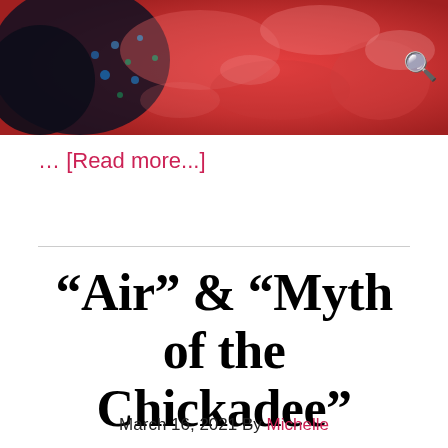[Figure (photo): Close-up microscopy or macro photo with reddish-pink tones, dark black regions on the left, and some blue-green speckles. Appears to be biological or medical imaging.]
... [Read more...]
“Air” & “Myth of the Chickadee”
March 16, 2021 By Michelle